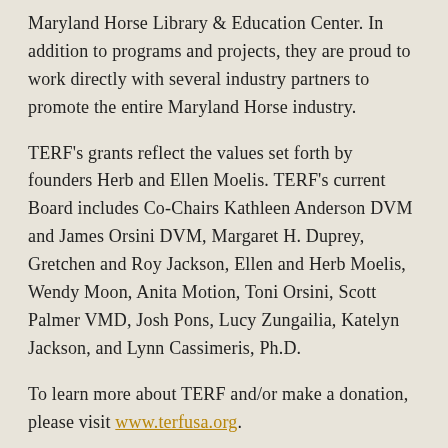Maryland Horse Library & Education Center. In addition to programs and projects, they are proud to work directly with several industry partners to promote the entire Maryland Horse industry.
TERF's grants reflect the values set forth by founders Herb and Ellen Moelis. TERF's current Board includes Co-Chairs Kathleen Anderson DVM and James Orsini DVM, Margaret H. Duprey, Gretchen and Roy Jackson, Ellen and Herb Moelis, Wendy Moon, Anita Motion, Toni Orsini, Scott Palmer VMD, Josh Pons, Lucy Zungailia, Katelyn Jackson, and Lynn Cassimeris, Ph.D.
To learn more about TERF and/or make a donation, please visit www.terfusa.org.
For further information, contact:
Jamison Ludgate
Marketing & Communications Associate
Chester County Community Foundation